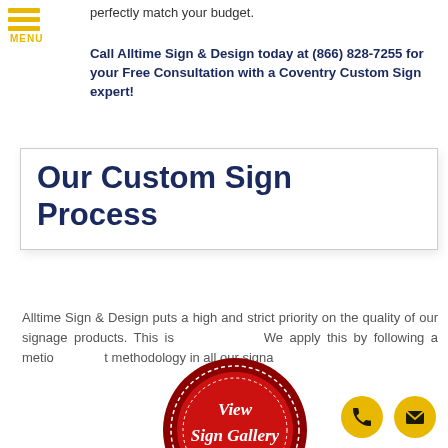perfectly match your budget.
Call Alltime Sign & Design today at (866) 828-7255 for your Free Consultation with a Coventry Custom Sign expert!
Our Custom Sign Process
Alltime Sign & Design puts a high and strict priority on the quality of our signage products. This is We apply this by following a metio methodology in all our signa
[Figure (illustration): Red wax seal stamp with gold ribbon banner. Text reads 'View Sign Gallery' in script and 'CLICK HERE' on gold banner.]
[Figure (illustration): Yellow circular phone icon button]
[Figure (illustration): Yellow circular email/envelope icon button]